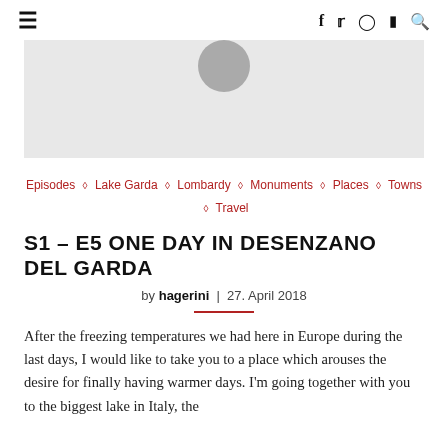≡   f  𝕏  ◻  ▶  🔍
[Figure (photo): Partially visible hero image with a grey circular avatar/logo at the top center, on a light grey background.]
Episodes ◇ Lake Garda ◇ Lombardy ◇ Monuments ◇ Places ◇ Towns ◇ Travel
S1 – E5 ONE DAY IN DESENZANO DEL GARDA
by hagerini  |  27. April 2018
After the freezing temperatures we had here in Europe during the last days, I would like to take you to a place which arouses the desire for finally having warmer days. I'm going together with you to the biggest lake in Italy, the